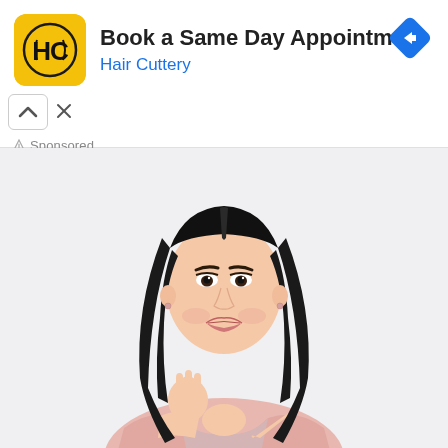[Figure (advertisement): Hair Cuttery ad banner with HC logo, title 'Book a Same Day Appointment', subtitle 'Hair Cuttery', navigation icon, adchoices triangle, close X, up-arrow collapse button, and 'Sponsored' label]
[Figure (photo): Photo of a smiling young Asian woman with long straight dark hair, wearing a light pink blazer, against a white/light grey background, with her right hand raised near her chest]